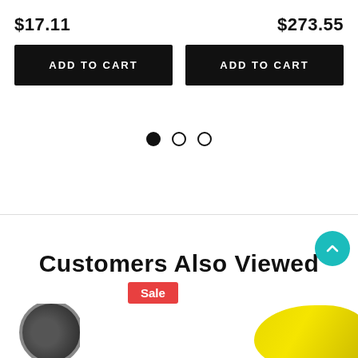$17.11
$273.55
ADD TO CART
ADD TO CART
[Figure (other): Pagination dots: one filled black dot and two empty circle dots indicating carousel position]
Customers Also Viewed
Sale
[Figure (photo): Partial product image bottom left showing a circular dark rotary tool/blade]
[Figure (photo): Partial product image bottom right showing a yellow curved object]